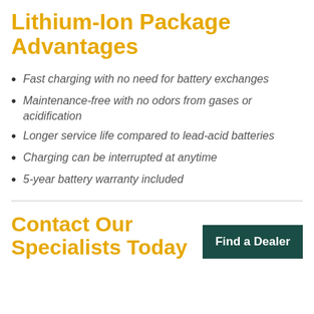Lithium-Ion Package Advantages
Fast charging with no need for battery exchanges
Maintenance-free with no odors from gases or acidification
Longer service life compared to lead-acid batteries
Charging can be interrupted at anytime
5-year battery warranty included
Contact Our Specialists Today
Find a Dealer